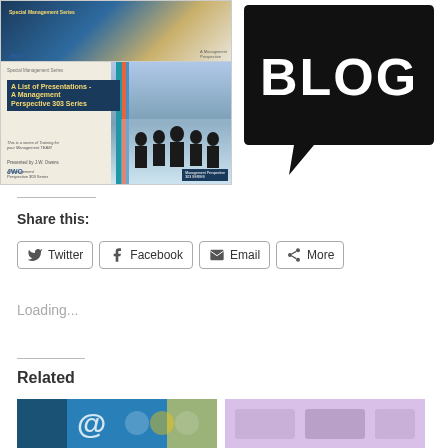[Figure (illustration): Two book/presentation covers side by side with a blog speech bubble icon on the right. Left shows 'A List of Presentations - A Management Perspective 303 Series' with silhouettes of business people. Right shows a large black speech bubble with 'BLOG' in bold white text.]
Share this:
Twitter
Facebook
Email
More
Loading...
Related